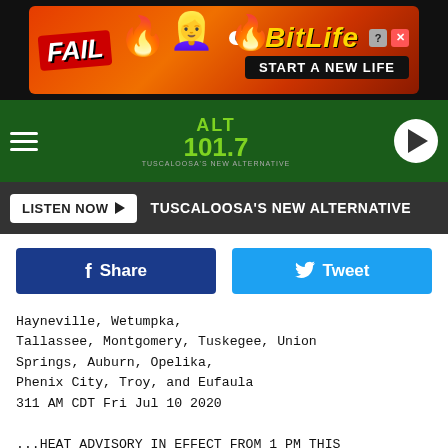[Figure (screenshot): BitLife advertisement banner with FAIL text and game branding on dark/red background]
[Figure (logo): ALT 101.7 radio station logo on dark green navigation bar with hamburger menu and play button]
LISTEN NOW ▶  TUSCALOOSA'S NEW ALTERNATIVE
f Share   Tweet
Hayneville, Wetumpka,
Tallassee, Montgomery, Tuskegee, Union
Springs, Auburn, Opelika,
Phenix City, Troy, and Eufaula
311 AM CDT Fri Jul 10 2020

...HEAT ADVISORY IN EFFECT FROM 1 PM THIS
AFTERNOON TO 7 PM CDT
THIS EVENING...

* WHAT...Heat index values 101 to 106